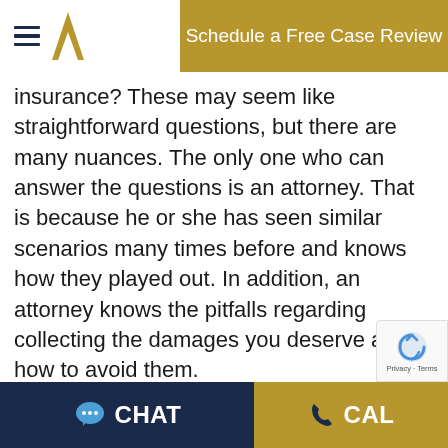Schedule a Free Case Review
insurance? These may seem like straightforward questions, but there are many nuances. The only one who can answer the questions is an attorney. That is because he or she has seen similar scenarios many times before and knows how they played out. In addition, an attorney knows the pitfalls regarding collecting the damages you deserve and how to avoid them.
Insurance Company
CHAT   CALL